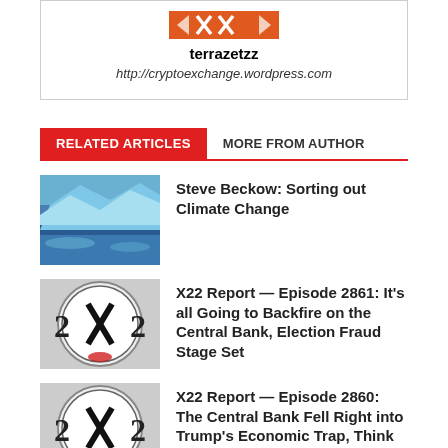[Figure (logo): Orange/red logo bar with geometric shapes (terrazetzz brand logo)]
terrazetzz
http://cryptoexchange.wordpress.com
RELATED ARTICLES   MORE FROM AUTHOR
[Figure (photo): Blue glacier / ice cliff photo]
Steve Beckow: Sorting out Climate Change
[Figure (logo): X22 Report logo - black and white circular emblem with 2X2 text]
X22 Report — Episode 2861: It's all Going to Backfire on the Central Bank, Election Fraud Stage Set
[Figure (logo): X22 Report logo - black and white circular emblem with 2X2 text]
X22 Report — Episode 2860: The Central Bank Fell Right into Trump's Economic Trap, Think Espionage Act